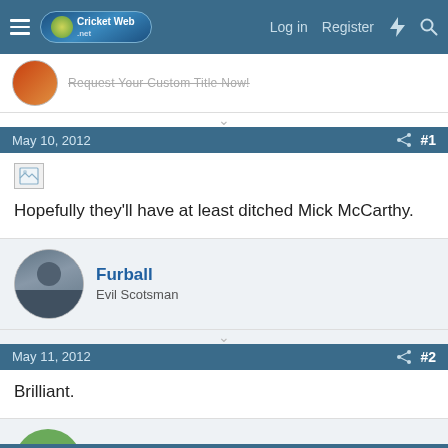CricketWeb.net — Log in  Register
Request Your Custom Title Now!
May 10, 2012  #1
Hopefully they'll have at least ditched Mick McCarthy.
Furball
Evil Scotsman
May 11, 2012  #2
Brilliant.
Pothas
Hall of Fame Member